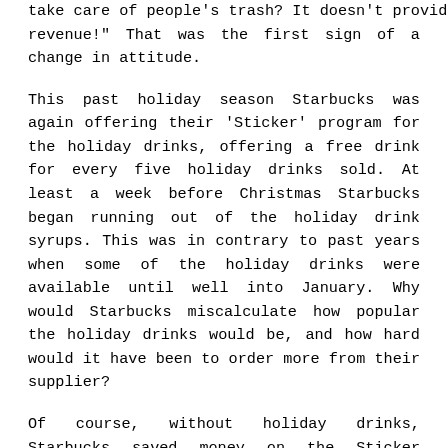take care of people's trash? It doesn't provide revenue!" That was the first sign of a change in attitude.
This past holiday season Starbucks was again offering their 'Sticker' program for the holiday drinks, offering a free drink for every five holiday drinks sold. At least a week before Christmas Starbucks began running out of the holiday drink syrups. This was in contrary to past years when some of the holiday drinks were available until well into January. Why would Starbucks miscalculate how popular the holiday drinks would be, and how hard would it have been to order more from their supplier?
Of course, without holiday drinks, Starbucks saved money on the Sticker program. Obviously, an accountant projected the maximum loss of free drinks through the Sticker program and cut off the